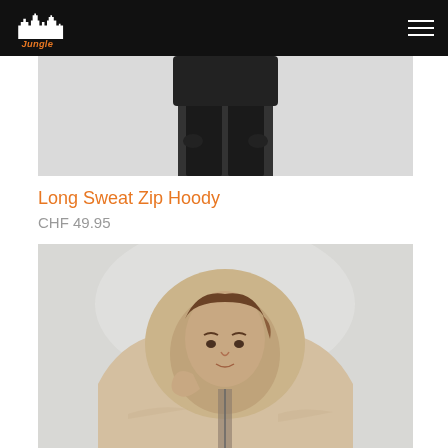Urban Jungle
[Figure (photo): Partial view of a person wearing all-black outfit, cropped showing lower body and hands, on white/light gray background]
Long Sweat Zip Hoody
CHF 49.95
[Figure (photo): Young man wearing a beige/cream teddy fleece zip hoodie with hood up, looking at camera, on light gray background]